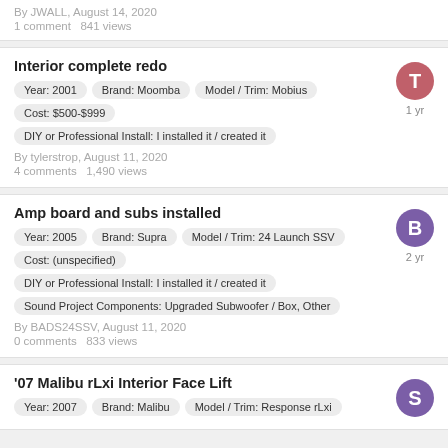By JWALL, August 14, 2020
1 comment   841 views
Interior complete redo
Year: 2001
Brand: Moomba
Model / Trim: Mobius
Cost: $500-$999
DIY or Professional Install: I installed it / created it
By tylerstrop, August 11, 2020
4 comments   1,490 views
Amp board and subs installed
Year: 2005
Brand: Supra
Model / Trim: 24 Launch SSV
Cost: (unspecified)
DIY or Professional Install: I installed it / created it
Sound Project Components: Upgraded Subwoofer / Box, Other
By BADS24SSV, August 11, 2020
0 comments   833 views
'07 Malibu rLxi Interior Face Lift
Year: 2007
Brand: Malibu
Model / Trim: Response rLxi